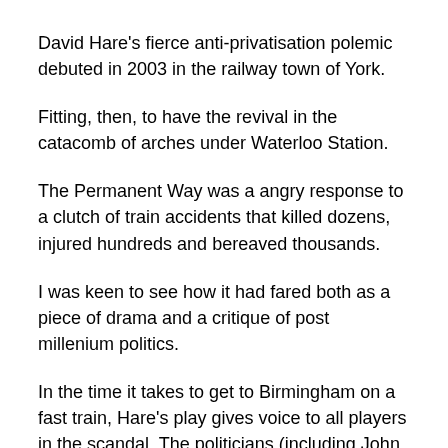David Hare's fierce anti-privatisation polemic debuted in 2003 in the railway town of York.
Fitting, then, to have the revival in the catacomb of arches under Waterloo Station.
The Permanent Way was a angry response to a clutch of train accidents that killed dozens, injured hundreds and bereaved thousands.
I was keen to see how it had fared both as a piece of drama and a critique of post millenium politics.
In the time it takes to get to Birmingham on a fast train, Hare's play gives voice to all players in the scandal. The politicians (including John "It must never happen again." Prescott), civil servants, financiers and investors ("All we want is a steady 12 percent return"),